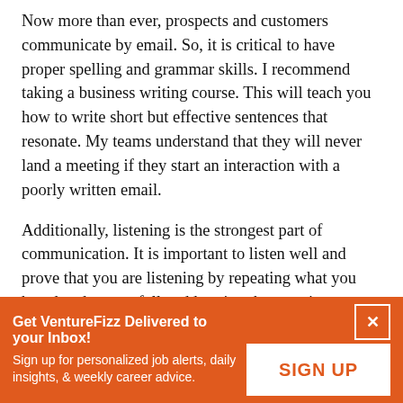Now more than ever, prospects and customers communicate by email. So, it is critical to have proper spelling and grammar skills. I recommend taking a business writing course. This will teach you how to write short but effective sentences that resonate. My teams understand that they will never land a meeting if they start an interaction with a poorly written email.
Additionally, listening is the strongest part of communication. It is important to listen well and prove that you are listening by repeating what you heard and respectfully addressing the questions asked. Your customer's agenda is far more important than your own agenda. So be sure to listen.
Get VentureFizz Delivered to your Inbox! Sign up for personalized job alerts, daily insights, & weekly career advice. SIGN UP